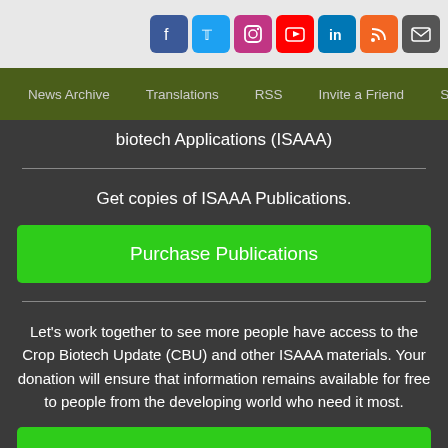[Figure (other): Social media icons row: Facebook, Twitter, Instagram, YouTube, LinkedIn, RSS, Mail]
News Archive | Translations | RSS | Invite a Friend | Subscr...
biotech Applications (ISAAA)
Get copies of ISAAA Publications.
Purchase Publications
Let's work together to see more people have access to the Crop Biotech Update (CBU) and other ISAAA materials. Your donation will ensure that information remains available for free to people from the developing world who need it most.
Make a Donation